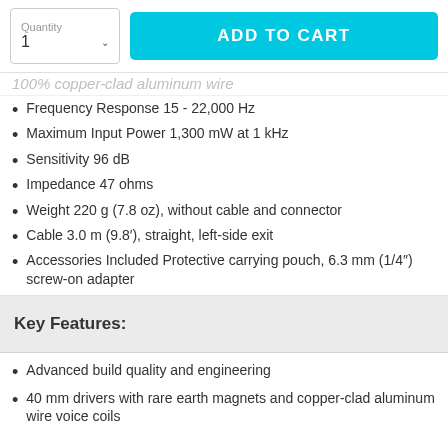[Figure (screenshot): E-commerce UI with quantity selector and Add to Cart button]
100% Copper-clad aluminum wire
Frequency Response 15 - 22,000 Hz
Maximum Input Power 1,300 mW at 1 kHz
Sensitivity 96 dB
Impedance 47 ohms
Weight 220 g (7.8 oz), without cable and connector
Cable 3.0 m (9.8'), straight, left-side exit
Accessories Included Protective carrying pouch, 6.3 mm (1/4"") screw-on adapter
Key Features:
Advanced build quality and engineering
40 mm drivers with rare earth magnets and copper-clad aluminum wire voice coils